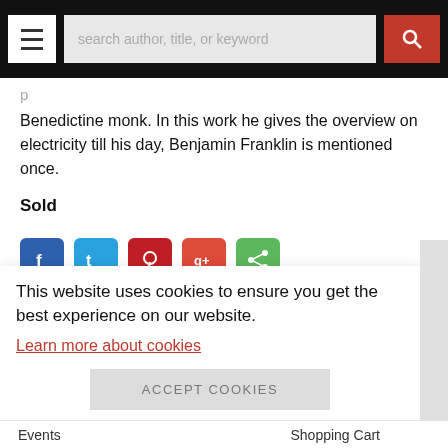search author, title, or keyword
Benedictine monk. In this work he gives the overview on electricity till his day, Benjamin Franklin is mentioned once.
Sold
[Figure (other): Social sharing icons: Facebook, Twitter, Pinterest, Google+, Share]
ASK A QUESTION
See all items in Physics. Science
This website uses cookies to ensure you get the best experience on our website.
Learn more about cookies
ACCEPT COOKIES
Events  Shopping Cart